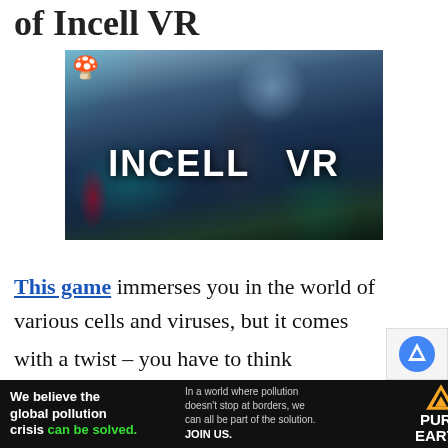of Incell VR
[Figure (screenshot): Game cover image for Incell VR showing a robotic figure in a bioluminescent forest/cellular environment with the text INCELL VR in large white bold letters, and a mushroom icon in the top-left corner]
This game immerses you in the world of various cells and viruses, but it comes with a twist – you have to think
[Figure (other): Advertisement banner: 'We believe the global pollution crisis can be solved.' with Pure Earth logo and text about global pollution]